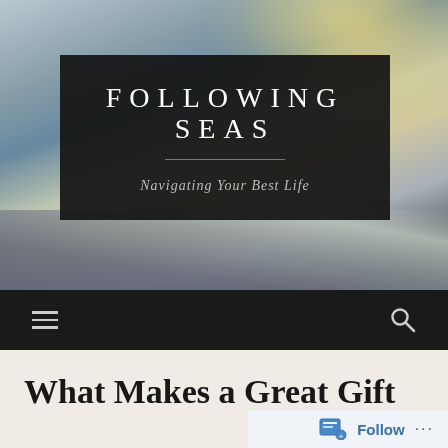[Figure (photo): Beach/ocean scene with sunlight reflecting on water, dark sand and waves in foreground, serving as hero background image]
FOLLOWING SEAS
Navigating Your Best Life
Navigation bar with hamburger menu and search icon
What Makes a Great Gift
Follow ...